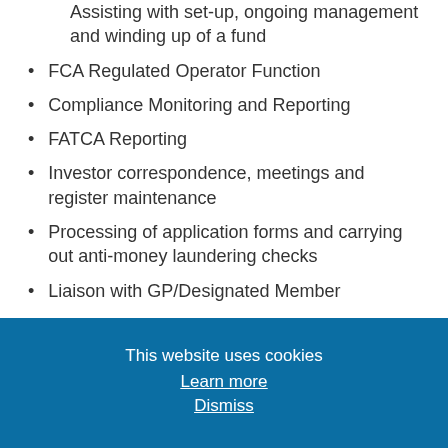Assisting with set-up, ongoing management and winding up of a fund
FCA Regulated Operator Function
Compliance Monitoring and Reporting
FATCA Reporting
Investor correspondence, meetings and register maintenance
Processing of application forms and carrying out anti-money laundering checks
Liaison with GP/Designated Member
This website uses cookies
Learn more
Dismiss